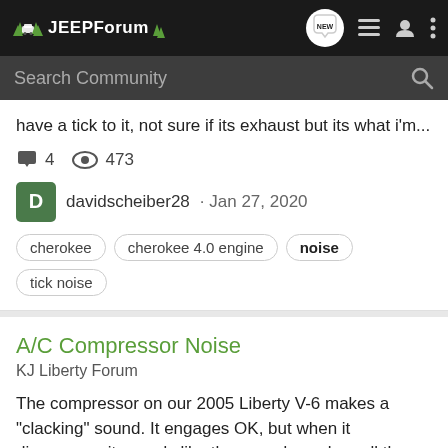JEEPForum
Search Community
have a tick to it, not sure if its exhaust but its what i'm...
4 comments, 473 views
davidscheiber28 · Jan 27, 2020
cherokee
cherokee 4.0 engine
noise
tick noise
A/C Compressor Noise
KJ Liberty Forum
The compressor on our 2005 Liberty V-6 makes a "clacking" sound. It engages OK, but when it disengages it sounds like the gear does clear all the way. It also seems like the A/C is on whenever any mode (Heat) is selected. Appreciate any help. Need to leave on a short trip and can't risk...